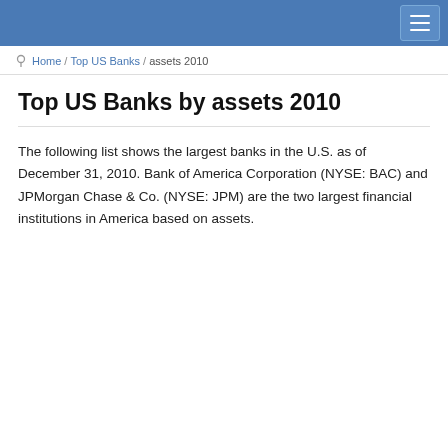Top US Banks
Home / Top US Banks / assets 2010
Top US Banks by assets 2010
The following list shows the largest banks in the U.S. as of December 31, 2010. Bank of America Corporation (NYSE: BAC) and JPMorgan Chase & Co. (NYSE: JPM) are the two largest financial institutions in America based on assets.